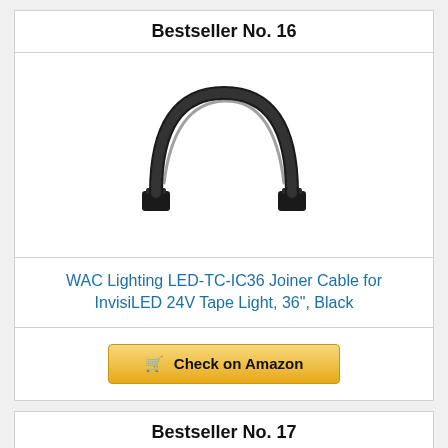Bestseller No. 16
[Figure (photo): Black joiner cable for LED tape light, arch-shaped with connectors on each end]
WAC Lighting LED-TC-IC36 Joiner Cable for InvisiLED 24V Tape Light, 36", Black
Check on Amazon
Bestseller No. 17